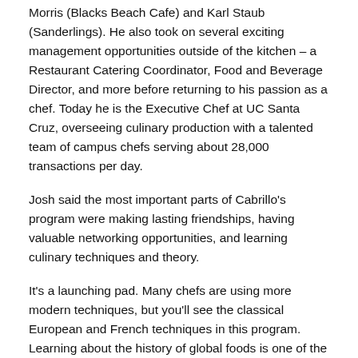Morris (Blacks Beach Cafe) and Karl Staub (Sanderlings). He also took on several exciting management opportunities outside of the kitchen – a Restaurant Catering Coordinator, Food and Beverage Director, and more before returning to his passion as a chef. Today he is the Executive Chef at UC Santa Cruz, overseeing culinary production with a talented team of campus chefs serving about 28,000 transactions per day.
Josh said the most important parts of Cabrillo's program were making lasting friendships, having valuable networking opportunities, and learning culinary techniques and theory.
It's a launching pad. Many chefs are using more modern techniques, but you'll see the classical European and French techniques in this program. Learning about the history of global foods is one of the things I enjoyed most – I still use classic techniques to this day.